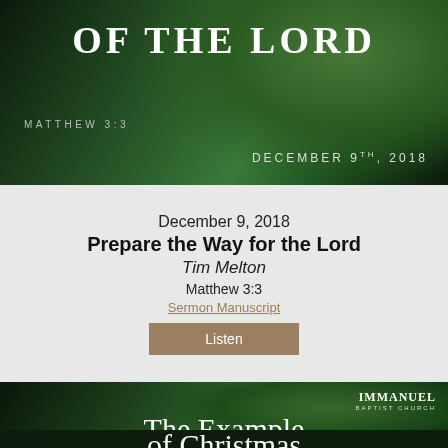[Figure (photo): Dark green pine/cedar branch background with white serif text reading 'OF THE LORD', scripture reference 'MATTHEW 3:3' on the left, and date 'DECEMBER 9TH, 2018' on the right]
December 9, 2018
Prepare the Way for the Lord
Tim Melton
Matthew 3:3
Sermon Manuscript
Listen
[Figure (photo): Dark green pine branch background with 'IMMANUEL BAPTIST CHURCH' logo top right, 'JOHN 1:14' bottom left, and large serif white text reading 'The Example of Christmas']